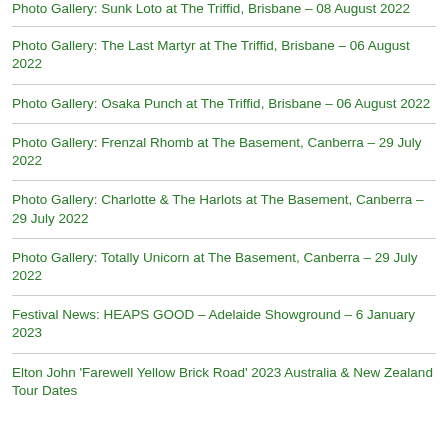Photo Gallery: Sunk Loto at The Triffid, Brisbane – 08 August 2022
Photo Gallery: The Last Martyr at The Triffid, Brisbane – 06 August 2022
Photo Gallery: Osaka Punch at The Triffid, Brisbane – 06 August 2022
Photo Gallery: Frenzal Rhomb at The Basement, Canberra – 29 July 2022
Photo Gallery: Charlotte & The Harlots at The Basement, Canberra – 29 July 2022
Photo Gallery: Totally Unicorn at The Basement, Canberra – 29 July 2022
Festival News: HEAPS GOOD – Adelaide Showground – 6 January 2023
Elton John 'Farewell Yellow Brick Road' 2023 Australia & New Zealand Tour Dates